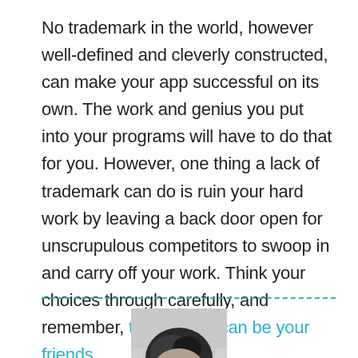No trademark in the world, however well-defined and cleverly constructed, can make your app successful on its own. The work and genius you put into your programs will have to do that for you. However, one thing a lack of trademark can do is ruin your hard work by leaving a back door open for unscrupulous competitors to swoop in and carry off your work. Think your choices through carefully, and remember, trademarks can be your friends.
[Figure (photo): Bottom portion of a person's head/face photo in black and white, cropped at the bottom of the page, with a dashed cyan/teal horizontal line above it]